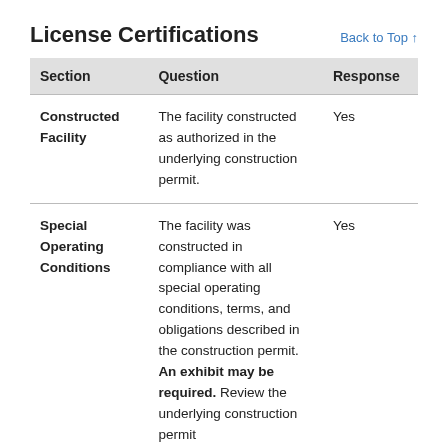License Certifications
Back to Top ↑
| Section | Question | Response |
| --- | --- | --- |
| Constructed Facility | The facility constructed as authorized in the underlying construction permit. | Yes |
| Special Operating Conditions | The facility was constructed in compliance with all special operating conditions, terms, and obligations described in the construction permit. An exhibit may be required. Review the underlying construction permit | Yes |